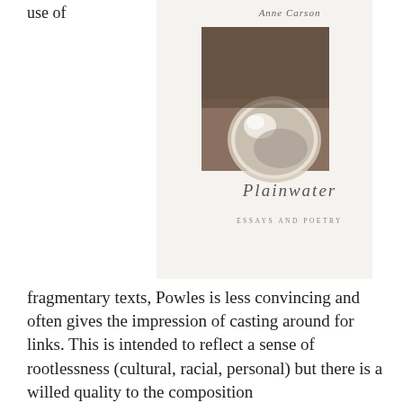use of
[Figure (photo): Book cover of 'Plainwater: Essays and Poetry' by Anne Carson. Features a sepia-toned photograph of a reflective circular object (possibly a bowl or disk) on a textured surface. The author name 'Anne Carson' is shown in cursive at the top, the title 'Plainwater' in cursive script in the lower portion, and 'ESSAYS AND POETRY' in small caps below that.]
fragmentary texts, Powles is less convincing and often gives the impression of casting around for links. This is intended to reflect a sense of rootlessness (cultural, racial, personal) but there is a willed quality to the composition